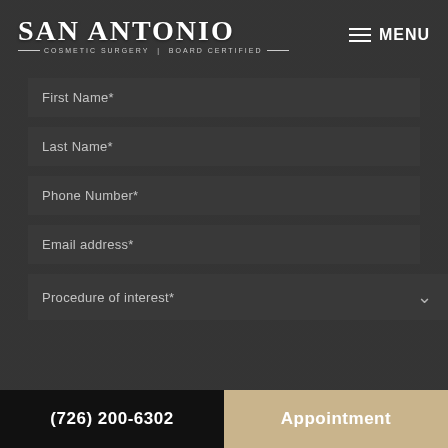[Figure (logo): San Antonio Cosmetic Surgery Board Certified logo with white text on dark background]
MENU
First Name*
Last Name*
Phone Number*
Email address*
Procedure of interest*
(726) 200-6302
Appointment